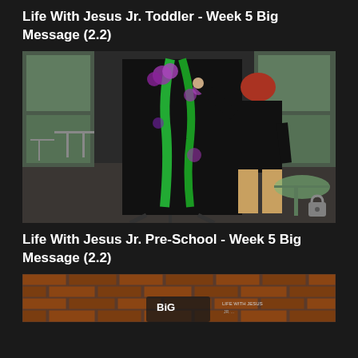Life With Jesus Jr. Toddler - Week 5 Big Message (2.2)
[Figure (photo): Person painting a large canvas on an easel in a modern room with large windows. The painting features green and purple colors on a dark background. A small table with painting supplies is visible to the right. A lock icon is in the bottom-right corner of the image.]
Life With Jesus Jr. Pre-School - Week 5 Big Message (2.2)
[Figure (photo): Partial image showing a brick wall background with a logo reading 'BIG' and text 'LIFE WITH JESUS' visible at the bottom of the page.]